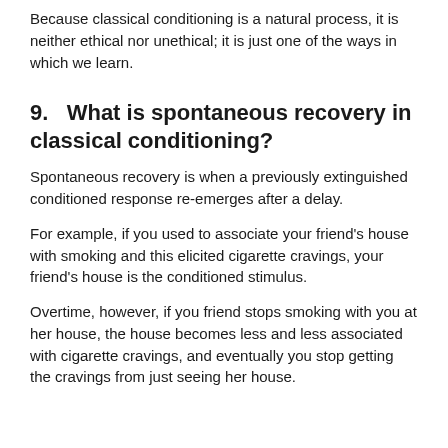Because classical conditioning is a natural process, it is neither ethical nor unethical; it is just one of the ways in which we learn.
9.   What is spontaneous recovery in classical conditioning?
Spontaneous recovery is when a previously extinguished conditioned response re-emerges after a delay.
For example, if you used to associate your friend's house with smoking and this elicited cigarette cravings, your friend's house is the conditioned stimulus.
Overtime, however, if you friend stops smoking with you at her house, the house becomes less and less associated with cigarette cravings, and eventually you stop getting the cravings from just seeing her house.